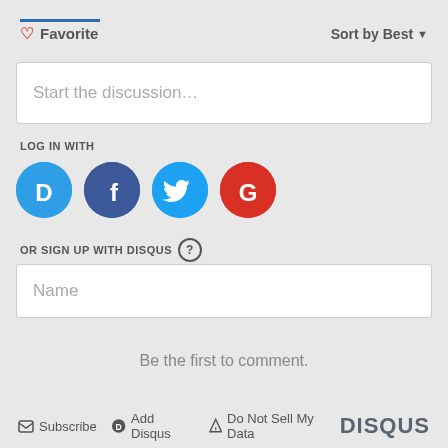Favorite
Sort by Best
Start the discussion…
LOG IN WITH
[Figure (logo): Social login icons: Disqus (blue circle D), Facebook (dark blue circle f), Twitter (light blue circle bird), Google (red circle G)]
OR SIGN UP WITH DISQUS ?
Name
Be the first to comment.
Subscribe  Add Disqus  Do Not Sell My Data  DISQUS